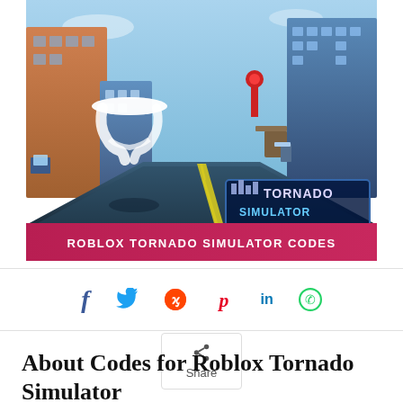[Figure (screenshot): Roblox Tornado Simulator game screenshot showing a tornado on a city street with a pink banner reading 'ROBLOX TORNADO SIMULATOR CODES']
[Figure (infographic): Social media share icons: Facebook, Twitter, Reddit, Pinterest, LinkedIn, WhatsApp, and a Share button]
About Codes for Roblox Tornado Simulator